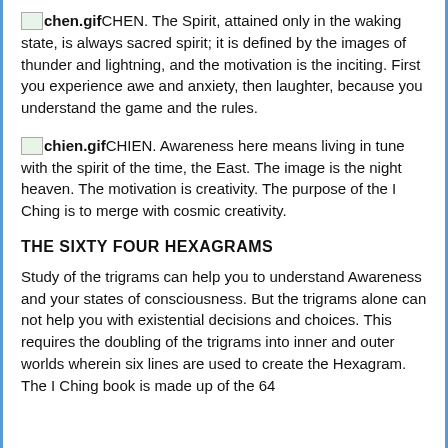chen.gif CHEN. The Spirit, attained only in the waking state, is always sacred spirit; it is defined by the images of thunder and lightning, and the motivation is the inciting. First you experience awe and anxiety, then laughter, because you understand the game and the rules.
chien.gif CHIEN. Awareness here means living in tune with the spirit of the time, the East. The image is the night heaven. The motivation is creativity. The purpose of the I Ching is to merge with cosmic creativity.
THE SIXTY FOUR HEXAGRAMS
Study of the trigrams can help you to understand Awareness and your states of consciousness. But the trigrams alone can not help you with existential decisions and choices. This requires the doubling of the trigrams into inner and outer worlds wherein six lines are used to create the Hexagram. The I Ching book is made up of the 64